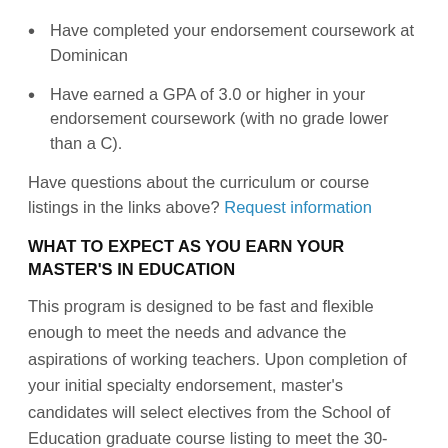Have completed your endorsement coursework at Dominican
Have earned a GPA of 3.0 or higher in your endorsement coursework (with no grade lower than a C).
Have questions about the curriculum or course listings in the links above? Request information
WHAT TO EXPECT AS YOU EARN YOUR MASTER'S IN EDUCATION
This program is designed to be fast and flexible enough to meet the needs and advance the aspirations of working teachers. Upon completion of your initial specialty endorsement, master's candidates will select electives from the School of Education graduate course listing to meet the 30-semester-hour requirement. You can apply all the credits you acquired for your endorsement toward the 30 hours you